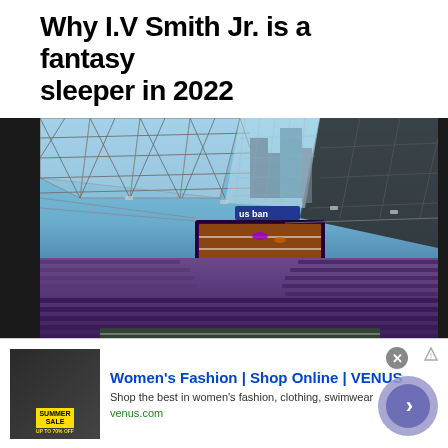Why I.V Smith Jr. is a fantasy sleeper in 2022
[Figure (photo): Interior view of US Bank Stadium (Minnesota Vikings) showing the glass roof structure, steel framework, stadium seating in purple, and the large video scoreboard displaying a football play. City buildings visible through the transparent roof panels.]
[Figure (infographic): Advertisement banner for Women's Fashion | Shop Online | VENUS. Shows a thumbnail image with Summer Sale promotional graphic, ad title in blue, description text, venus.com URL in green, a close (X) button, an ad info icon, and a circular arrow button.]